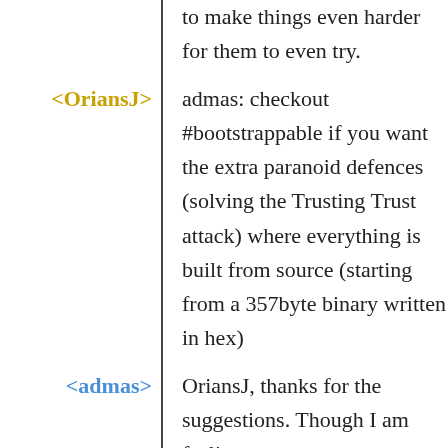to make things even harder for them to even try.
<OriansJ> admas: checkout #bootstrappable if you want the extra paranoid defences (solving the Trusting Trust attack) where everything is built from source (starting from a 357byte binary written in hex)
<admas> OriansJ, thanks for the suggestions. Though I am feeling